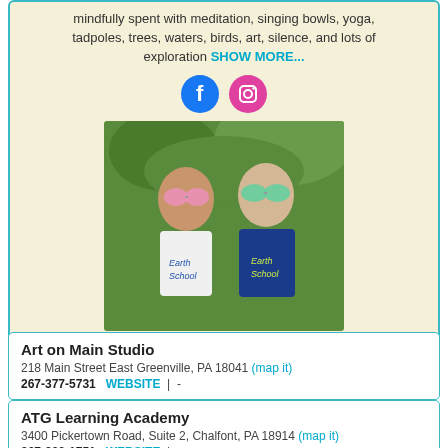mindfully spent with meditation, singing bowls, yoga, tadpoles, trees, waters, birds, art, silence, and lots of exploration SHOW MORE...
[Figure (illustration): Two social media icons: Facebook (blue circle with white f) and Instagram (pink/magenta circle with camera outline)]
[Figure (photo): Two young girls wearing 'Earth School' t-shirts and colorful goggles, standing outdoors with green foliage in background]
Art on Main Studio
218 Main Street East Greenville, PA 18041 (map it)
267-377-5731   WEBSITE  |  -
ATG Learning Academy
3400 Pickertown Road, Suite 2, Chalfont, PA 18914 (map it)
267-803-1751   WEBSITE  |  -